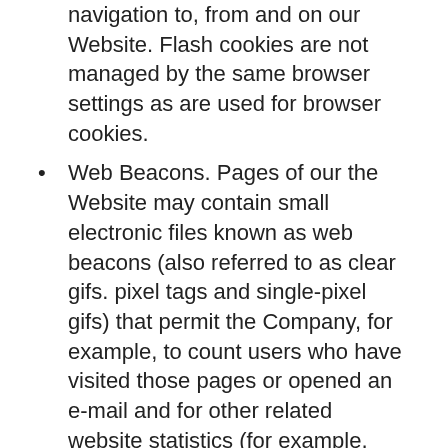navigation to, from and on our Website. Flash cookies are not managed by the same browser settings as are used for browser cookies.
Web Beacons. Pages of our the Website may contain small electronic files known as web beacons (also referred to as clear gifs. pixel tags and single-pixel gifs) that permit the Company, for example, to count users who have visited those pages or opened an e-mail and for other related website statistics (for example, recording the popularity of certain website content and verifying system and server integrity).
We do not collect personal Information automatically, but we may tie this information to personal information about you that we